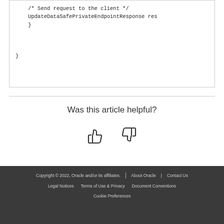[Figure (screenshot): Code block showing partial Java/similar code with comment '/* Send request to the client */', a line starting with 'UpdateDataSafePrivateEndpointResponse res', closing braces for inner and outer blocks.]
Was this article helpful?
[Figure (other): Thumbs up and thumbs down icons for article feedback]
Copyright © 2022, Oracle and/or its affiliates. | About Oracle | Contact Us | Legal Notices | Terms of Use & Privacy | Document Conventions | Cookie Preferences